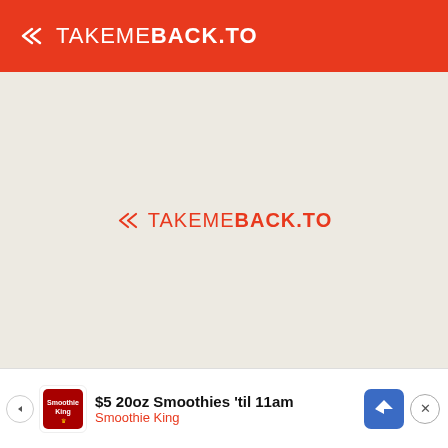TAKEMEBACK.TO
[Figure (logo): TAKEMEBACK.TO logo centered on beige background]
Home    Shop    Historic Newspapers
Special Days    My Places    Blog
Newsletter    Birthday Club
Famous Birthdays    Date Calculator
[Figure (other): Advertisement bar: $5 20oz Smoothies 'til 11am - Smoothie King]